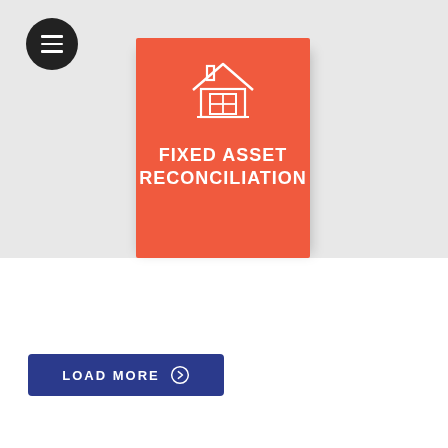[Figure (illustration): Gray banner background with a hamburger menu icon (three white lines in a black circle) in the top-left, and a red-orange card in the center showing a white house icon and the text FIXED ASSET RECONCILIATION in white bold uppercase letters, with a subtle shadow behind the card.]
FIXED ASSET RECONCILIATION
[Figure (other): Dark blue LOAD MORE button with a circled arrow icon on the right, white uppercase text reading LOAD MORE.]